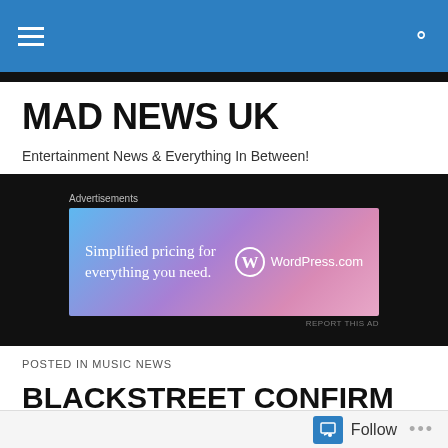MAD NEWS UK — Navigation bar
MAD NEWS UK
Entertainment News & Everything In Between!
[Figure (screenshot): WordPress.com advertisement banner: 'Simplified pricing for everything you need.' with WordPress.com logo on gradient pink-purple background]
POSTED IN MUSIC NEWS
BLACKSTREET CONFIRM THEIR ATTENDANCE @ THE SUNDAY SHOW (LONDON)
Follow